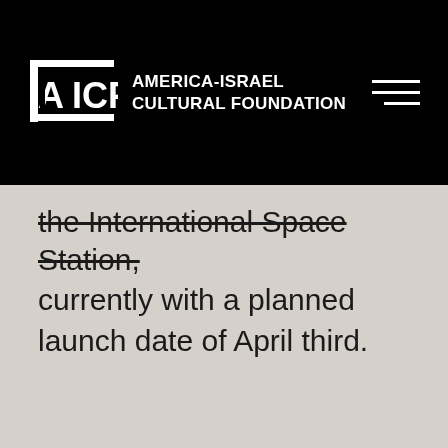AMERICA-ISRAEL CULTURAL FOUNDATION
the International Space Station, currently with a planned launch date of April third.